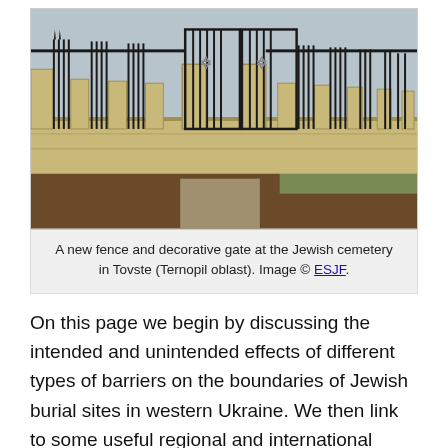[Figure (photo): A new fence and decorative gate with Star of David emblems at the Jewish cemetery in Tovste (Ternopil oblast). Metal iron fence with stone pillars extending along a path.]
A new fence and decorative gate at the Jewish cemetery in Tovste (Ternopil oblast). Image © ESJF.
On this page we begin by discussing the intended and unintended effects of different types of barriers on the boundaries of Jewish burial sites in western Ukraine. We then link to some useful regional and international resources for the design, funding, and construction of fences, walls, and gates; the websites of some of those organizations can also serve as galleries of reference designs for inspiration and for practical planning and cost estimates. In addition, we outline some common